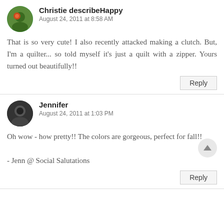Christie describeHappy
August 24, 2011 at 8:58 AM
That is so very cute! I also recently attacked making a clutch. But, I'm a quilter... so told myself it's just a quilt with a zipper. Yours turned out beautifully!!
Reply
Jennifer
August 24, 2011 at 1:03 PM
Oh wow - how pretty!! The colors are gorgeous, perfect for fall!!

- Jenn @ Social Salutations
Reply